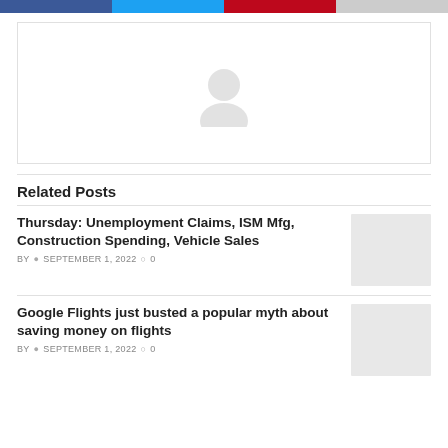[Figure (other): Social share buttons bar: Facebook (blue), Twitter (light blue), Pinterest (red), Other (gray)]
[Figure (illustration): Author avatar placeholder: gray circular silhouette of a person on white background with light border]
Related Posts
Thursday: Unemployment Claims, ISM Mfg, Construction Spending, Vehicle Sales
BY   SEPTEMBER 1, 2022   0
Google Flights just busted a popular myth about saving money on flights
BY   SEPTEMBER 1, 2022   0